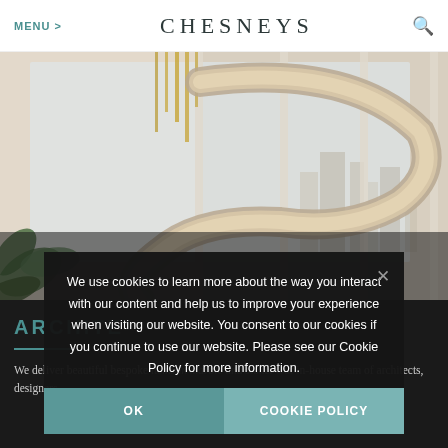MENU > CHESNEYS [search icon]
[Figure (photo): Interior photo of a modern luxury space featuring a curved spiral staircase with marble/stone finish, floor-to-ceiling glass windows with city skyline view, pendant gold/brass lighting fixtures, and tropical plant. Warm, light-filled atmosphere.]
ARCHITE...
We deliver beautiful bespoke items in marble and stone. Our in-house team of architects, designers,
We use cookies to learn more about the way you interact with our content and help us to improve your experience when visiting our website. You consent to our cookies if you continue to use our website. Please see our Cookie Policy for more information.
OK  COOKIE POLICY